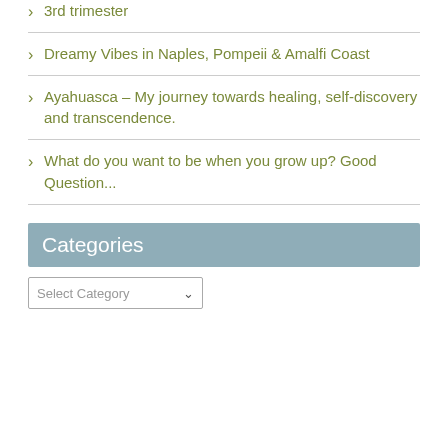3rd trimester
Dreamy Vibes in Naples, Pompeii & Amalfi Coast
Ayahuasca – My journey towards healing, self-discovery and transcendence.
What do you want to be when you grow up? Good Question...
Categories
Select Category